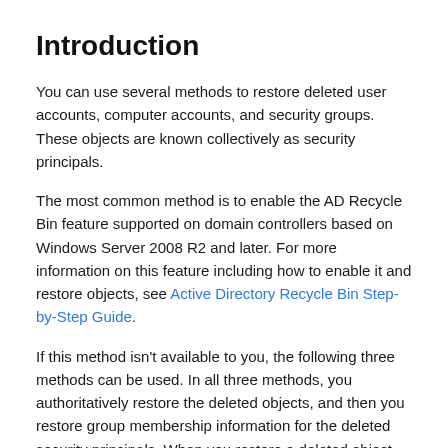Introduction
You can use several methods to restore deleted user accounts, computer accounts, and security groups. These objects are known collectively as security principals.
The most common method is to enable the AD Recycle Bin feature supported on domain controllers based on Windows Server 2008 R2 and later. For more information on this feature including how to enable it and restore objects, see Active Directory Recycle Bin Step-by-Step Guide.
If this method isn't available to you, the following three methods can be used. In all three methods, you authoritatively restore the deleted objects, and then you restore group membership information for the deleted security principals. When you restore a deleted object, you